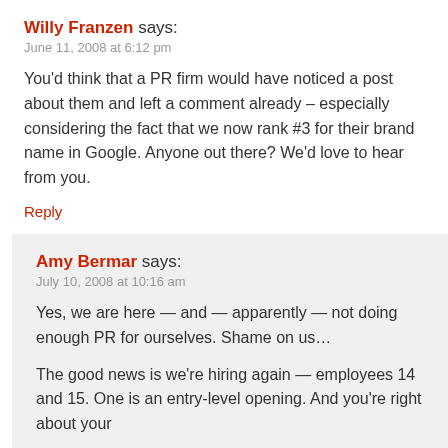Willy Franzen says:
June 11, 2008 at 6:12 pm
You'd think that a PR firm would have noticed a post about them and left a comment already – especially considering the fact that we now rank #3 for their brand name in Google. Anyone out there? We'd love to hear from you.
Reply
Amy Bermar says:
July 10, 2008 at 10:16 am
Yes, we are here — and — apparently — not doing enough PR for ourselves. Shame on us…
The good news is we're hiring again — employees 14 and 15. One is an entry-level opening. And you're right about your